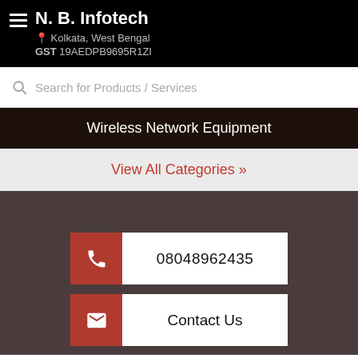N. B. Infotech – Kolkata, West Bengal – GST 19AEDPB9695R1ZI
Search for Products / Services
Wireless Network Equipment
View All Categories »
08048962435
Contact Us